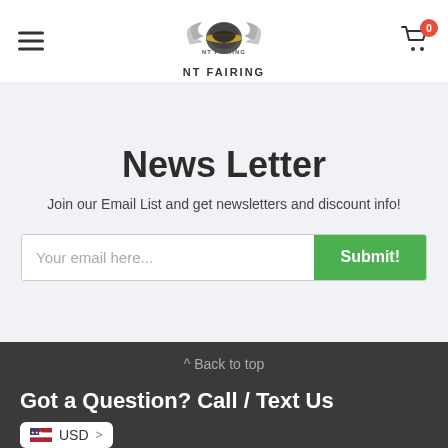NT Fairing - Navigation header with hamburger menu, logo, and cart icon (0 items)
News Letter
Join our Email List and get newsletters and discount info!
Your email here... [Submit! button]
^ Back to top
Got a Question? Call / Text Us
(XXX) 620-4868
USD >